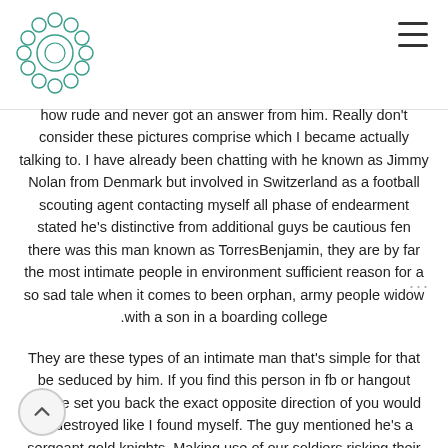[Logo and navigation hamburger menu]
how rude and never got an answer from him. Really don't consider these pictures comprise which I became actually talking to. I have already been chatting with he known as Jimmy Nolan from Denmark but involved in Switzerland as a football scouting agent contacting myself all phase of endearment stated he's distinctive from additional guys be cautious fen there was this man known as TorresBenjamin, they are by far the most intimate people in environment sufficient reason for a so sad tale when it comes to been orphan, army people widow .with a son in a boarding college
They are these types of an intimate man that's simple for that be seduced by him. If you find this person in fb or hangout please set you back the exact opposite direction of you would be destroyed like I found myself. The guy mentioned he's a sergeant gold knights. Making use of our soldiers risking their ular physical lives to con people, this laugh was incredible. Stay away from a scammer just who phone calls themselves